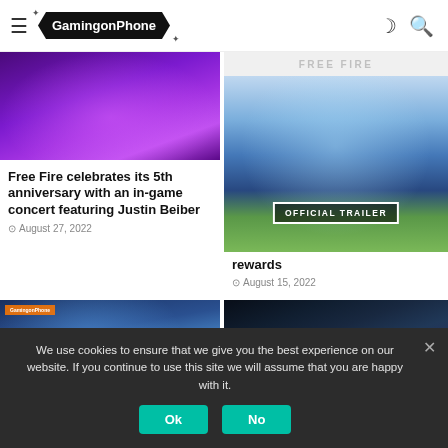GamingonPhone
FREE FIRE
[Figure (screenshot): Game thumbnail with purple concert lighting for Free Fire 5th anniversary article]
Free Fire celebrates its 5th anniversary with an in-game concert featuring Justin Beiber
August 27, 2022
[Figure (screenshot): Free Fire game environment screenshot with Official Trailer badge overlay]
rewards
August 15, 2022
[Figure (screenshot): Free Fire map overview screenshot with GamingonPhone watermark]
[Figure (screenshot): Free Fire characters with FREE FIRE logo text]
We use cookies to ensure that we give you the best experience on our website. If you continue to use this site we will assume that you are happy with it.